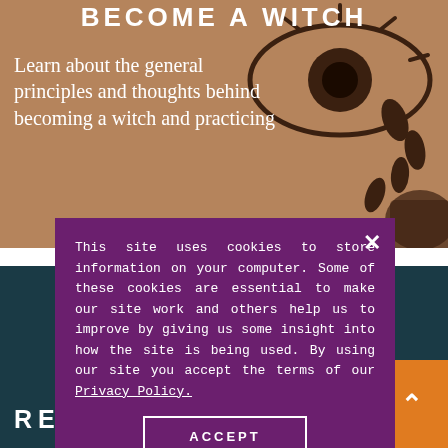[Figure (illustration): Top section with brown/tan background showing a partial eye illustration with decorative elements. Text 'BECOME A WITCH' at top and tagline text below.]
BECOME A WITCH
Learn about the general principles and thoughts behind becoming a witch and practicing
This site uses cookies to store information on your computer. Some of these cookies are essential to make our site work and others help us to improve by giving us some insight into how the site is being used. By using our site you accept the terms of our Privacy Policy.
ACCEPT
[Figure (illustration): Bottom section with dark teal background showing teal/cyan line art illustration of a book with star/burst design.]
READING